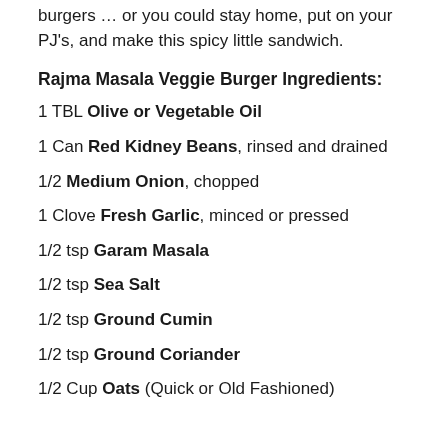burgers … or you could stay home, put on your PJ's, and make this spicy little sandwich.
Rajma Masala Veggie Burger Ingredients:
1 TBL Olive or Vegetable Oil
1 Can Red Kidney Beans, rinsed and drained
1/2 Medium Onion, chopped
1 Clove Fresh Garlic, minced or pressed
1/2 tsp Garam Masala
1/2 tsp Sea Salt
1/2 tsp Ground Cumin
1/2 tsp Ground Coriander
1/2 Cup Oats (Quick or Old Fashioned)